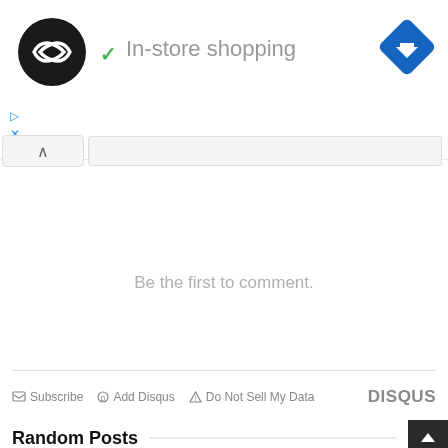[Figure (screenshot): Ad banner with black circular logo with white infinity-like symbol, green checkmark, text 'In-store shopping', blue diamond navigation icon, and blue play/close controls]
Be the first to comment.
Subscribe  Add Disqus  Do Not Sell My Data  DISQUS
Random Posts
[Figure (photo): Pink background with stationery items including binder clips and a white pen/marker]